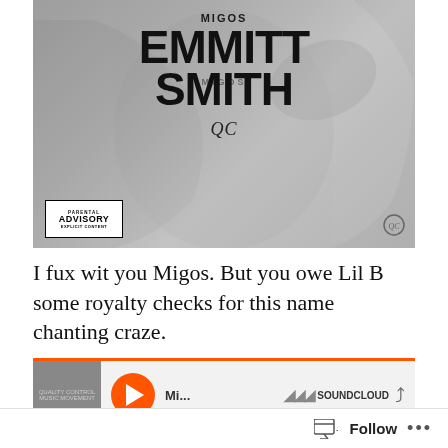[Figure (illustration): Black and white album cover for Migos 'Emmitt Smith' featuring a football player, large bold text reading EMMITT SMITH, QC logo, Parental Advisory label in bottom left, and small watermark logo in bottom right.]
I fux wit you Migos. But you owe Lil B some royalty checks for this name chanting craze.
[Figure (screenshot): SoundCloud audio player widget showing a thumbnail image, orange play button, track name starting with 'Mi...', SoundCloud logo with waveform bars, and a share icon.]
Follow ...